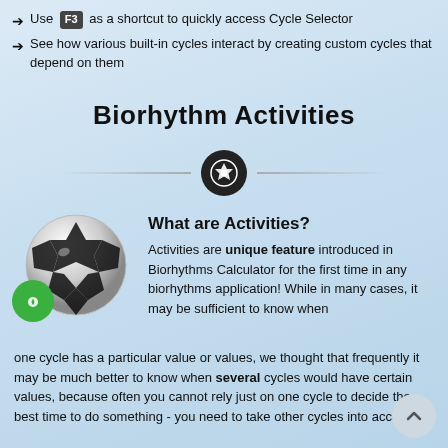Use F3 as a shortcut to quickly access Cycle Selector
See how various built-in cycles interact by creating custom cycles that depend on them
Biorhythm Activities
[Figure (illustration): Horizontal divider with a dark circle containing a soccer ball icon in the center]
[Figure (illustration): Soccer ball image with a green circle icon overlay in the lower left]
What are Activities?
Activities are unique feature introduced in Biorhythms Calculator for the first time in any biorhythms application! While in many cases, it may be sufficient to know when one cycle has a particular value or values, we thought that frequently it may be much better to know when several cycles would have certain values, because often you cannot rely just on one cycle to decide the best time to do something - you need to take other cycles into account.